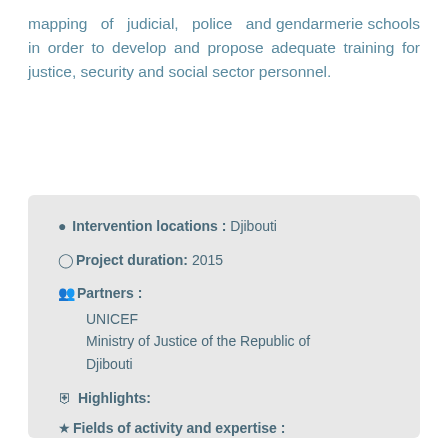mapping of judicial, police and gendarmerie schools in order to develop and propose adequate training for justice, security and social sector personnel.
Intervention locations : Djibouti
Project duration: 2015
Partners :
UNICEF
Ministry of Justice of the Republic of Djibouti
Highlights:
Fields of activity and expertise :
[Figure (infographic): Three colored circles (purple, green, red) and a scales of justice icon representing fields of activity and expertise]